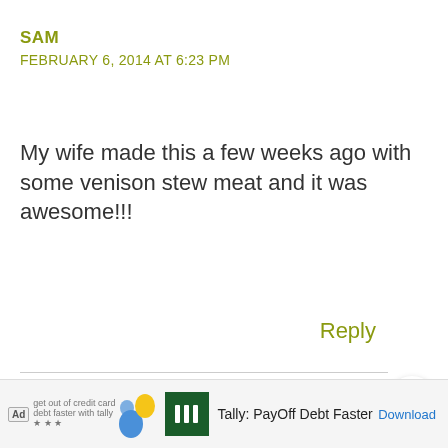SAM
FEBRUARY 6, 2014 AT 6:23 PM
My wife made this a few weeks ago with some venison stew meat and it was awesome!!!
Reply
CHRISTINE
FEBRUARY 5, 2014 AT 11:57 PM
Recipe sounds perfect, can't wait to try it! Would like to double up and freeze leftovers for lunches.
Any id...t?
[Figure (other): Ad banner: Tally PayOff Debt Faster app advertisement with download link]